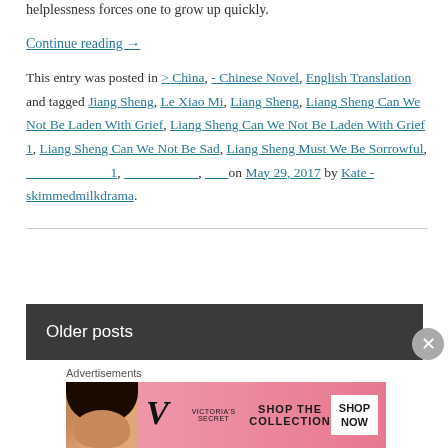helplessness forces one to grow up quickly.
Continue reading →
This entry was posted in > China, - Chinese Novel, English Translation and tagged Jiang Sheng, Le Xiao Mi, Liang Sheng, Liang Sheng Can We Not Be Laden With Grief, Liang Sheng Can We Not Be Laden With Grief 1, Liang Sheng Can We Not Be Sad, Liang Sheng Must We Be Sorrowful, ____________ 1, ___________, ___ on May 29, 2017 by Kate - skimmedmilkdrama.
Older posts
Advertisements
[Figure (photo): Victoria's Secret advertisement banner showing a woman with curly hair, VS logo, 'SHOP THE COLLECTION' text, and 'SHOP NOW' button]